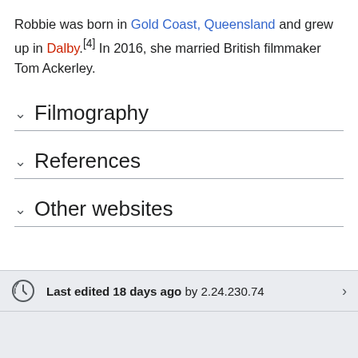Robbie was born in Gold Coast, Queensland and grew up in Dalby.[4] In 2016, she married British filmmaker Tom Ackerley.
Filmography
References
Other websites
Last edited 18 days ago by 2.24.230.74